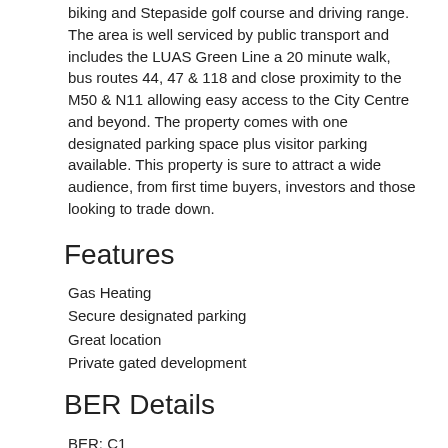biking and Stepaside golf course and driving range. The area is well serviced by public transport and includes the LUAS Green Line a 20 minute walk, bus routes 44, 47 & 118 and close proximity to the M50 & N11 allowing easy access to the City Centre and beyond. The property comes with one designated parking space plus visitor parking available. This property is sure to attract a wide audience, from first time buyers, investors and those looking to trade down.
Features
Gas Heating
Secure designated parking
Great location
Private gated development
BER Details
BER: C1
Accommodation
Entrance Hall 3.51m x 1.20m
Wooden flooring, intercom and recessed lighting.